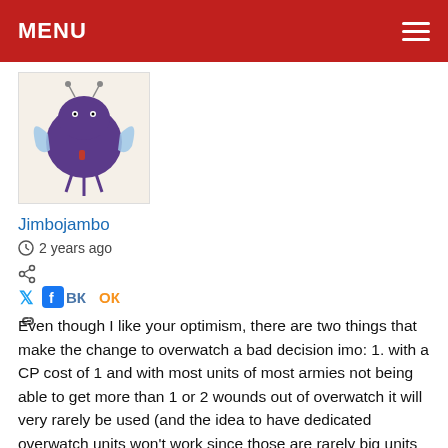MENU
[Figure (illustration): Cartoon purple round creature with wings and small legs, drawn in a simple style, on a light beige background]
Jimbojambo
2 years ago
Even though I like your optimism, there are two things that make the change to overwatch a bad decision imo: 1. with a CP cost of 1 and with most units of most armies not being able to get more than 1 or 2 wounds out of overwatch it will very rarely be used (and the idea to have dedicated overwatch units won't work since those are rarely big units and any opponent can manage to get around them). Hence, overwatch will just become one of those strats that no one ever uses and every 20th or so game will be remembered and then put aside again. And that's a shame since it is one of the very few mechanics that happen in the opponents turn and are easy and fun to use. 2. For Tau in particular, if it doesn't get faqed for Tau when 9th is landing it is just unfair and might make Tau unplayable again (like during 4th and 5th edition, which was changed by reintroducing overwatch, ironically). Why? Because of two reason. 1. Most other armies don't care for overwatch, but for Tau it is essential and directly connected to the army's special rule. Which means Tau would be the only army that has